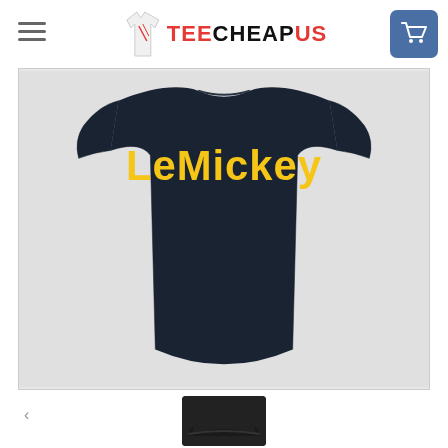TEECHEAPUS
[Figure (photo): Back view of a dark navy/black women's fitted t-shirt with 'LeMickey' printed in yellow bubble-style text on the back, displayed on a light gray background.]
[Figure (photo): Partial view of a dark baseball cap thumbnail at the bottom of the page.]